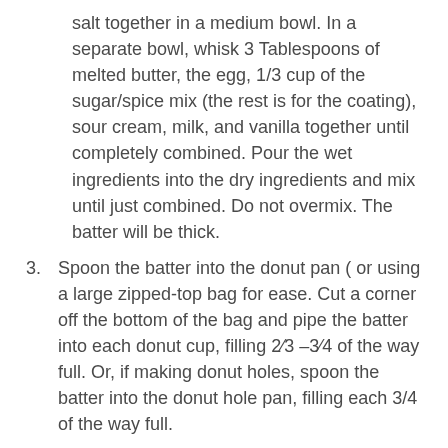salt together in a medium bowl. In a separate bowl, whisk 3 Tablespoons of melted butter, the egg, 1/3 cup of the sugar/spice mix (the rest is for the coating), sour cream, milk, and vanilla together until completely combined. Pour the wet ingredients into the dry ingredients and mix until just combined. Do not overmix. The batter will be thick.
3. Spoon the batter into the donut pan ( or using a large zipped-top bag for ease. Cut a corner off the bottom of the bag and pipe the batter into each donut cup, filling 2⁄3 –3⁄4 of the way full. Or, if making donut holes, spoon the batter into the donut hole pan, filling each 3/4 of the way full.
4. Bake the donuts or donut holes for 9–10 minutes or until the edges are lightly browned. Once done, transfer to a wire rack set on a large piece of parchment paper or on a large baking sheet.